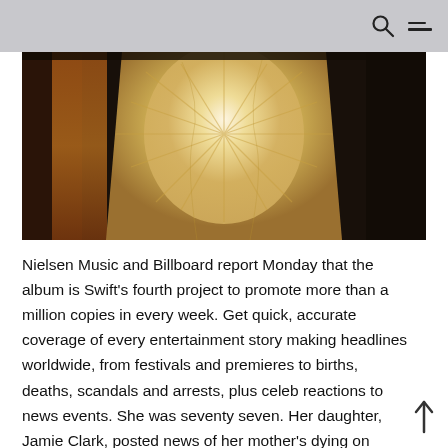[Figure (photo): Close-up photo of a decorative dress or garment with intricate fabric detail, showing cream/beige textured material with floral or sunburst pattern against a dark background with warm amber tones on the side.]
Nielsen Music and Billboard report Monday that the album is Swift's fourth project to promote more than a million copies in every week. Get quick, accurate coverage of every entertainment story making headlines worldwide, from festivals and premieres to births, deaths, scandals and arrests, plus celeb reactions to news events. She was seventy seven. Her daughter, Jamie Clark, posted news of her mother's dying on Grafton's web web page Friday....